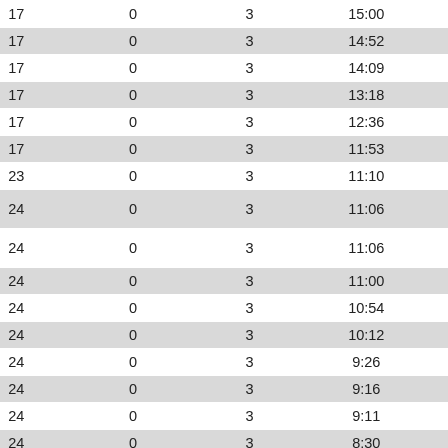| Col1 | Col2 | Col3 | Col4 | Col5 | Col6 |
| --- | --- | --- | --- | --- | --- |
| 17 | 0 | 3 | 15:00 | 14:52 | SD |
| 17 | 0 | 3 | 14:52 | 14:09 | SD |
| 17 | 0 | 3 | 14:09 | 13:18 | SD |
| 17 | 0 | 3 | 13:18 | 12:36 | SD |
| 17 | 0 | 3 | 12:36 | 11:53 | SD |
| 17 | 0 | 3 | 11:53 | 11:10 | SD |
| 23 | 0 | 3 | 11:10 | 11:06 | SD |
| 24 | 0 | 3 | 11:06 | 11:06 | SD |
| 24 | 0 | 3 | 11:06 | 11:00 | SD |
| 24 | 0 | 3 | 11:00 | 10:54 | SD |
| 24 | 0 | 3 | 10:54 | 10:12 | SD |
| 24 | 0 | 3 | 10:12 | 9:26 | SD |
| 24 | 0 | 3 | 9:26 | 9:16 | SD |
| 24 | 0 | 3 | 9:16 | 9:11 | SD |
| 24 | 0 | 3 | 9:11 | 8:30 | SD |
| 24 | 0 | 3 | 8:30 | 7:43 | SD |
| 24 | 0 | 3 | 7:43 | 6:58 | SD |